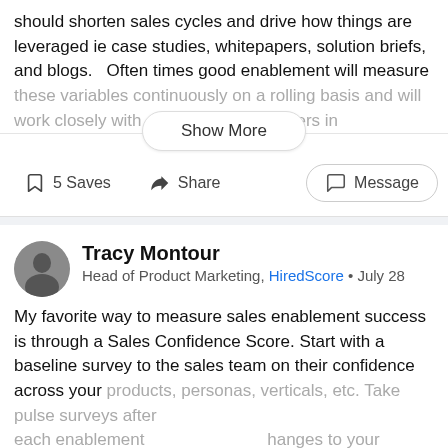should shorten sales cycles and drive how things are leveraged ie case studies, whitepapers, solution briefs, and blogs.   Often times good enablement will measure these variables continuously on a rolling basis and will work closely with [marketers in]
Show More
5 Saves   Share   Message
Tracy Montour
Head of Product Marketing, HiredScore • July 28
My favorite way to measure sales enablement success is through a Sales Confidence Score. Start with a baseline survey to the sales team on their confidence across your products, personas, verticals, etc. Take pulse surveys after each enablement [changes to your]
Show More
1 Save   Share   Message